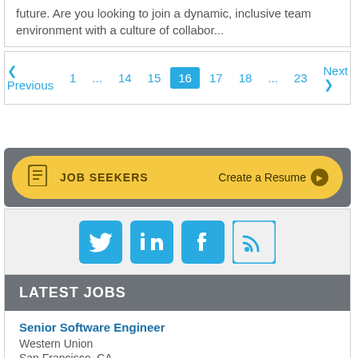future. Are you looking to join a dynamic, inclusive team environment with a culture of collabor...
Previous  1  ...  14  15  16  17  18  ...  23  Next
[Figure (infographic): JOB SEEKERS banner with Create a Resume action button, yellow rounded bar on grey background]
[Figure (infographic): Social media icons: Twitter, LinkedIn, Facebook, RSS feed, on light grey background]
LATEST JOBS
Senior Software Engineer
Western Union
San Francisco, CA